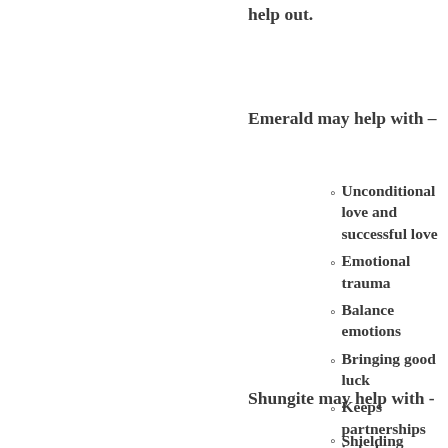help out.
Emerald may help with –
Unconditional love and successful love
Emotional trauma
Balance emotions
Bringing good luck
Keeps partnerships in balance
Will stimulate the heart chakra to heal passed trauma
Shungite may help with -
Shielding from...